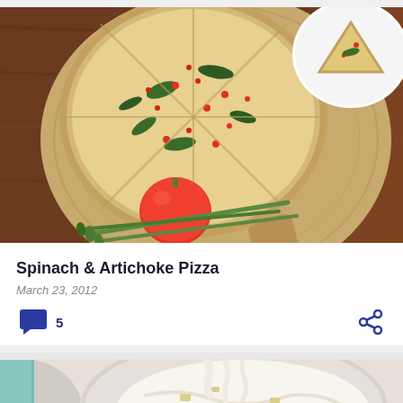[Figure (photo): Overhead photo of a spinach and artichoke pizza on a wooden pizza paddle/board, with a red tomato and asparagus spears on the side. A white plate with a pizza slice is visible in the upper right corner. The background is a dark wooden table.]
Spinach & Artichoke Pizza
March 23, 2012
[Figure (photo): Close-up photo of a creamy white mixture being stirred in a glass bowl, partially visible. A teal/turquoise container is visible on the left edge.]